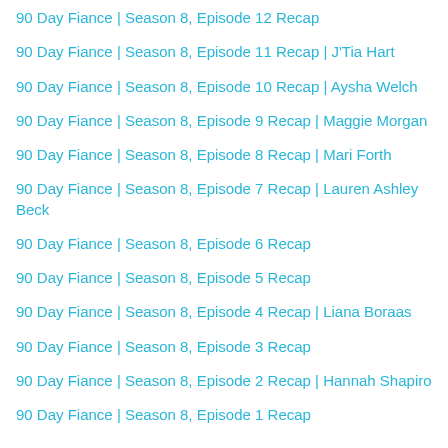90 Day Fiance | Season 8, Episode 12 Recap
90 Day Fiance | Season 8, Episode 11 Recap | J'Tia Hart
90 Day Fiance | Season 8, Episode 10 Recap | Aysha Welch
90 Day Fiance | Season 8, Episode 9 Recap | Maggie Morgan
90 Day Fiance | Season 8, Episode 8 Recap | Mari Forth
90 Day Fiance | Season 8, Episode 7 Recap | Lauren Ashley Beck
90 Day Fiance | Season 8, Episode 6 Recap
90 Day Fiance | Season 8, Episode 5 Recap
90 Day Fiance | Season 8, Episode 4 Recap | Liana Boraas
90 Day Fiance | Season 8, Episode 3 Recap
90 Day Fiance | Season 8, Episode 2 Recap | Hannah Shapiro
90 Day Fiance | Season 8, Episode 1 Recap